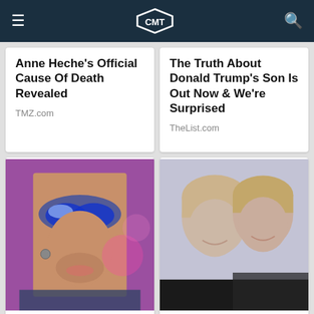CMT
Anne Heche's Official Cause Of Death Revealed
TMZ.com
The Truth About Donald Trump's Son Is Out Now & We're Surprised
TheList.com
[Figure (photo): Close-up photo of a man with dramatic blue eye makeup and glitter]
Adam Lambert's Transformation Is Still Hard For Fans To Swallow
[Figure (photo): Photo of two blonde women smiling together]
Ellen DeGeneres' Emotional Response To Ex Anne Heche's Death